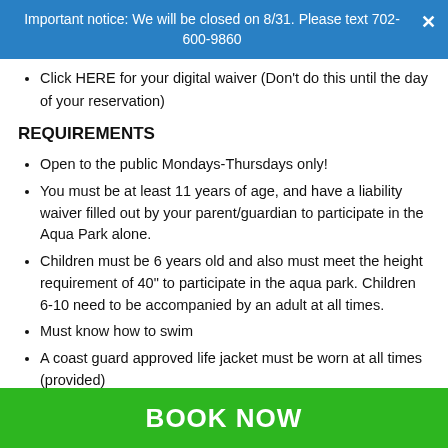Important notice: We will be closed on 8/31. Please text 702-600-9860
Click HERE for your digital waiver (Don't do this until the day of your reservation)
REQUIREMENTS
Open to the public Mondays-Thursdays only!
You must be at least 11 years of age, and have a liability waiver filled out by your parent/guardian to participate in the Aqua Park alone.
Children must be 6 years old and also must meet the height requirement of 40" to participate in the aqua park. Children 6-10 need to be accompanied by an adult at all times.
Must know how to swim
A coast guard approved life jacket must be worn at all times (provided)
BOOK NOW